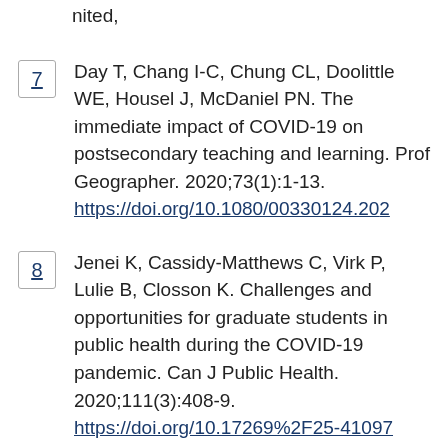nited,
7  Day T, Chang I-C, Chung CL, Doolittle WE, Housel J, McDaniel PN. The immediate impact of COVID-19 on postsecondary teaching and learning. Prof Geographer. 2020;73(1):1-13. https://doi.org/10.1080/00330124.202...
8  Jenei K, Cassidy-Matthews C, Virk P, Lulie B, Closson K. Challenges and opportunities for graduate students in public health during the COVID-19 pandemic. Can J Public Health. 2020;111(3):408-9. https://doi.org/10.17269%2F25-41097...